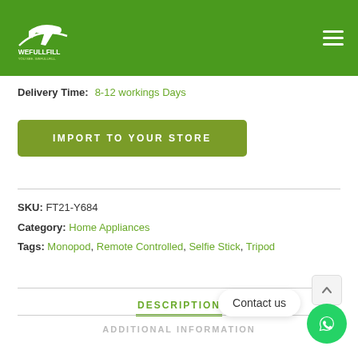WeFullFill - IMPORT TO YOUR STORE
Delivery Time: 8-12 workings Days
IMPORT TO YOUR STORE
SKU: FT21-Y684
Category: Home Appliances
Tags: Monopod, Remote Controlled, Selfie Stick, Tripod
DESCRIPTION
ADDITIONAL INFORMATION
Contact us